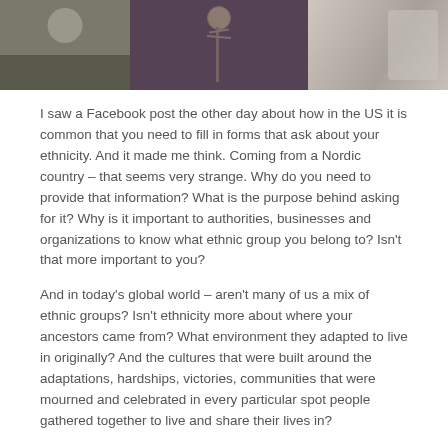[Figure (photo): A horizontal strip of three photos showing people. Left photo shows a person from behind wearing grey. Center photo shows a person wearing a dark purple/maroon outfit with necklaces. Right photo shows a person in white clothing.]
I saw a Facebook post the other day about how in the US it is common that you need to fill in forms that ask about your ethnicity. And it made me think. Coming from a Nordic country – that seems very strange. Why do you need to provide that information? What is the purpose behind asking for it? Why is it important to authorities, businesses and organizations to know what ethnic group you belong to? Isn't that more important to you?
And in today's global world – aren't many of us a mix of ethnic groups? Isn't ethnicity more about where your ancestors came from? What environment they adapted to live in originally? And the cultures that were built around the adaptations, hardships, victories, communities that were mourned and celebrated in every particular spot people gathered together to live and share their lives in?
I think it is VERY important to know where we come from. Where